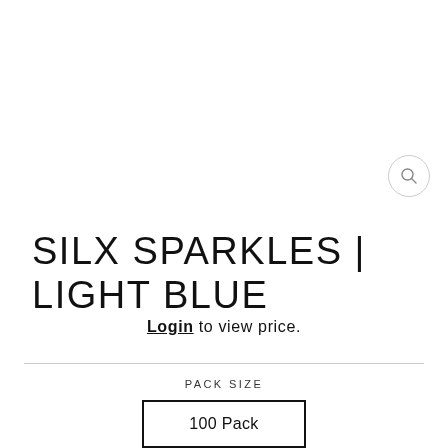[Figure (other): Search icon button (magnifying glass) in a circular border, top right area]
SILX SPARKLES | LIGHT BLUE
Login to view price.
PACK SIZE
100 Pack